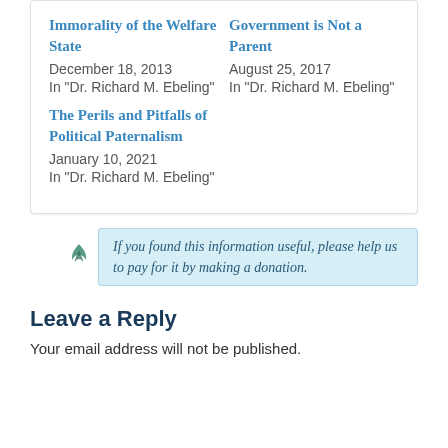Immorality of the Welfare State
December 18, 2013
In "Dr. Richard M. Ebeling"
Government is Not a Parent
August 25, 2017
In "Dr. Richard M. Ebeling"
The Perils and Pitfalls of Political Paternalism
January 10, 2021
In "Dr. Richard M. Ebeling"
If you found this information useful, please help us to pay for it by making a donation.
Leave a Reply
Your email address will not be published.